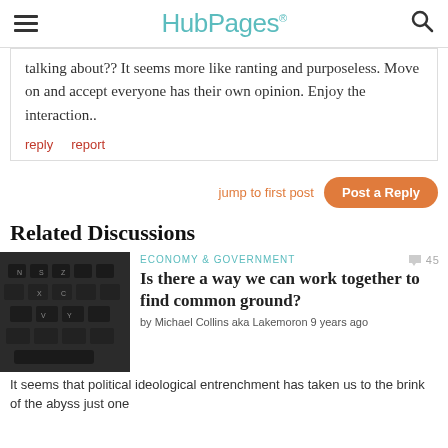HubPages
talking about?? It seems more like ranting and purposeless. Move on and accept everyone has their own opinion. Enjoy the interaction..
reply   report
jump to first post   Post a Reply
Related Discussions
[Figure (photo): Close-up photo of a dark keyboard]
ECONOMY & GOVERNMENT   45
Is there a way we can work together to find common ground?
by Michael Collins aka Lakemoron 9 years ago
It seems that political ideological entrenchment has taken us to the brink of the abyss just one